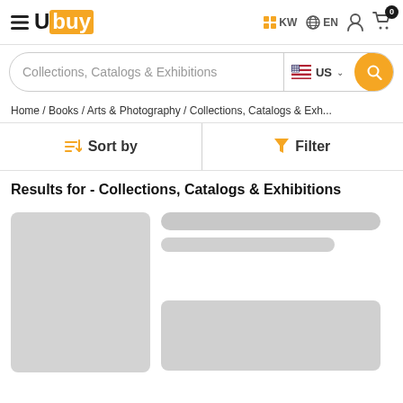Ubuy — KW EN (cart: 0)
Collections, Catalogs & Exhibitions — US search
Home / Books / Arts & Photography / Collections, Catalogs & Exh...
Sort by  Filter
Results for - Collections, Catalogs & Exhibitions
[Figure (other): Loading skeleton product card with gray image placeholder and gray content bars]